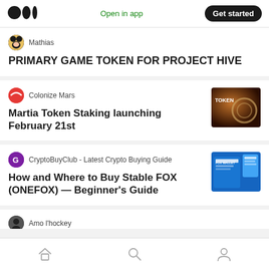Medium app header with logo, Open in app, Get started
Mathias
PRIMARY GAME TOKEN FOR PROJECT HIVE
Colonize Mars
Martia Token Staking launching February 21st
[Figure (photo): Brown token image with TOKEN text]
CryptoBuyClub - Latest Crypto Buying Guide
How and Where to Buy Stable FOX (ONEFOX) — Beginner's Guide
[Figure (screenshot): Blue crypto wallet app screenshot]
Amo l'hockey
Bottom navigation: Home, Search, Profile